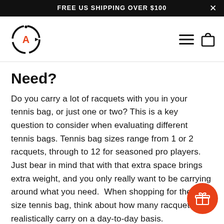FREE US SHIPPING OVER $100
[Figure (logo): Compass-style logo with letter A and arrow]
Need?
Do you carry a lot of racquets with you in your tennis bag, or just one or two? This is a key question to consider when evaluating different tennis bags. Tennis bag sizes range from 1 or 2 racquets, through to 12 for seasoned pro players. Just bear in mind that with that extra space brings extra weight, and you only really want to be carrying around what you need.  When shopping for the right size tennis bag, think about how many racquets you realistically carry on a day-to-day basis.